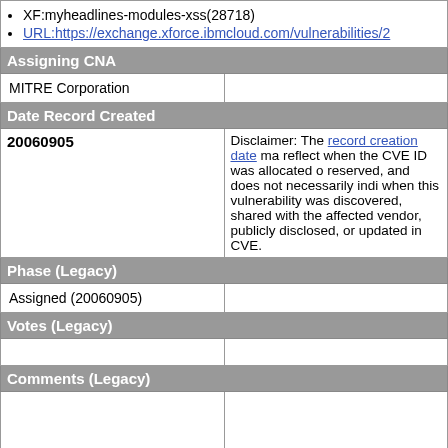XF:myheadlines-modules-xss(28718)
URL:https://exchange.xforce.ibmcloud.com/vulnerabilities/2
Assigning CNA
MITRE Corporation
Date Record Created
| 20060905 | Disclaimer |
| --- | --- |
| 20060905 | Disclaimer: The record creation date may reflect when the CVE ID was allocated or reserved, and does not necessarily indicate when this vulnerability was discovered, shared with the affected vendor, publicly disclosed, or updated in CVE. |
Phase (Legacy)
Assigned (20060905)
Votes (Legacy)
Comments (Legacy)
Proposed (Legacy)
N/A